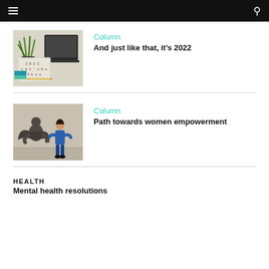Column
And just like that, it's 2022
[Figure (photo): Lightbox sign reading '2022 Let's Do This' with a plant and laptop on a desk]
Column
Path towards women empowerment
[Figure (photo): Woman standing confidently with superhero shadow on wall behind her]
HEALTH
Mental health resolutions